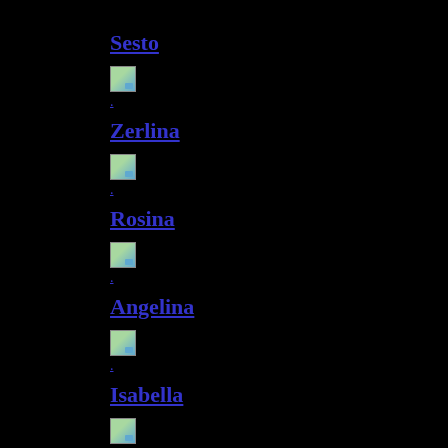Sesto
[Figure (illustration): Small broken image placeholder icon]
Zerlina
[Figure (illustration): Small broken image placeholder icon]
Rosina
[Figure (illustration): Small broken image placeholder icon]
Angelina
[Figure (illustration): Small broken image placeholder icon]
Isabella
[Figure (illustration): Small broken image placeholder icon]
Isolier